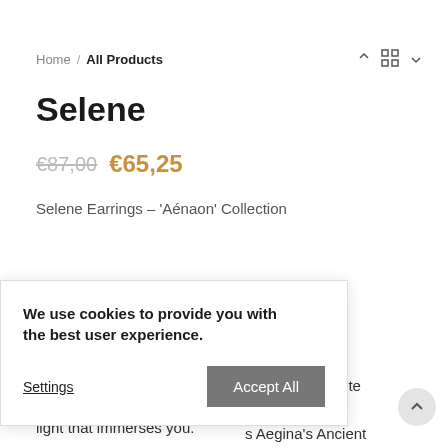Home / All Products
Selene
€87,00  €65,25
Selene Earrings – 'Aénaon' Collection
Aénaon in Greek means flowing continuously , unstoppably , eternally like a circular flow.
The inspiration behind this collection derives from the absolute ... beauty of nature. In ... Aegina's Ancient ... connected to since ... live trees and a unique light that immerses you.
We use cookies to provide you with the best user experience.
light that immerses you.